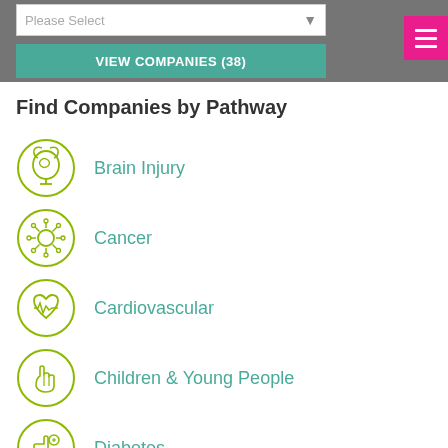[Figure (screenshot): Grey top bar with a white dropdown select box showing 'Please Select' and a teal 'VIEW COMPANIES (38)' button, plus a pink hamburger menu button in top right]
Find Companies by Pathway
Brain Injury
Cancer
Cardiovascular
Children & Young People
Diabetes